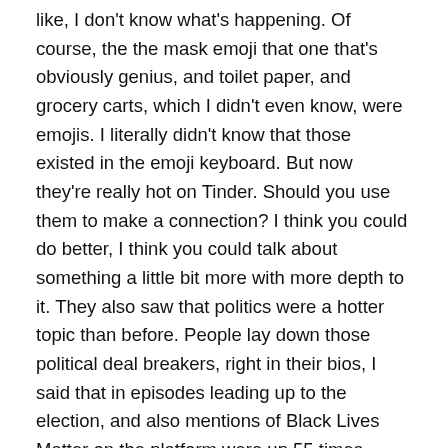like, I don't know what's happening. Of course, the the mask emoji that one that's obviously genius, and toilet paper, and grocery carts, which I didn't even know, were emojis. I literally didn't know that those existed in the emoji keyboard. But now they're really hot on Tinder. Should you use them to make a connection? I think you could do better, I think you could talk about something a little bit more with more depth to it. They also saw that politics were a hotter topic than before. People lay down those political deal breakers, right in their bios, I said that in episodes leading up to the election, and also mentions of Black Lives Matter on the platform were up 55 times amid, you know, you know what happened, you know, you know, so you know, Black Lives Matter has been a thing for a long time. But of course, this year, people are talking about it in a new way and talk of voting doubled in the months leading up to the 2020 election. So that's what's on people's [...] But I really feel like there's a b...